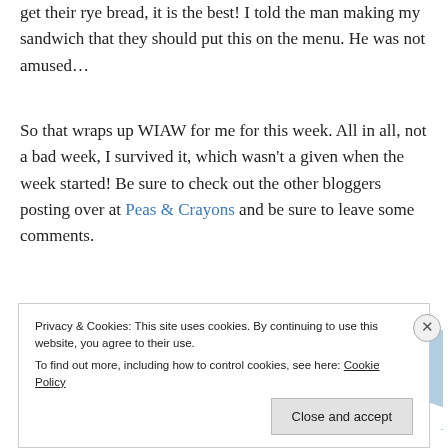get their rye bread, it is the best!  I told the man making my sandwich that they should put this on the menu.  He was not amused…
So that wraps up WIAW for me for this week.  All in all, not a bad week, I survived it, which wasn't a given when the week started!  Be sure to check out the other bloggers posting over at Peas & Crayons and be sure to leave some comments.
[Figure (illustration): Partial illustration showing a pink circular shape against a light blue background with a yellow diamond sparkle, and a white curved arc at the bottom]
Privacy & Cookies: This site uses cookies. By continuing to use this website, you agree to their use.
To find out more, including how to control cookies, see here: Cookie Policy